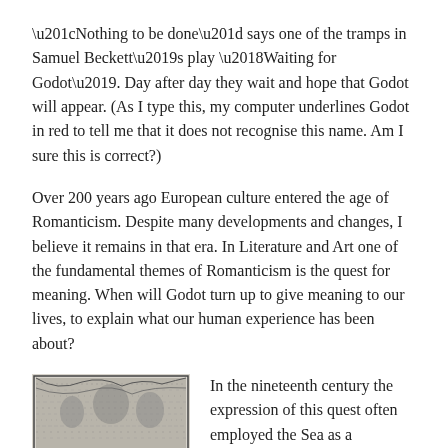“Nothing to be done” says one of the tramps in Samuel Beckett’s play ‘Waiting for Godot’. Day after day they wait and hope that Godot will appear. (As I type this, my computer underlines Godot in red to tell me that it does not recognise this name. Am I sure this is correct?)
Over 200 years ago European culture entered the age of Romanticism. Despite many developments and changes, I believe it remains in that era. In Literature and Art one of the fundamental themes of Romanticism is the quest for meaning. When will Godot turn up to give meaning to our lives, to explain what our human experience has been about?
[Figure (illustration): Book cover illustration for 'The Hunting of the Snark', black and white engraving style image with decorative figures and foliage, caption reads 'THE HUNTING OF THE SNARK']
In the nineteenth century the expression of this quest often employed the Sea as a